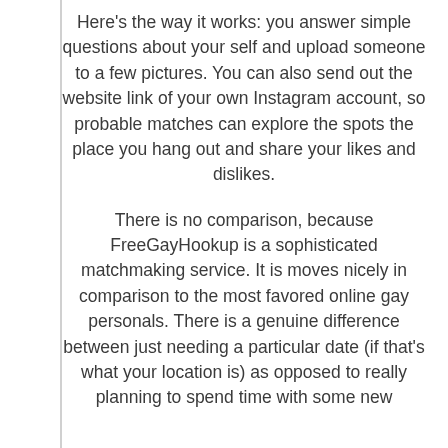Here's the way it works: you answer simple questions about your self and upload someone to a few pictures. You can also send out the website link of your own Instagram account, so probable matches can explore the spots the place you hang out and share your likes and dislikes.
There is no comparison, because FreeGayHookup is a sophisticated matchmaking service. It is moves nicely in comparison to the most favored online gay personals. There is a genuine difference between just needing a particular date (if that's what your location is) as opposed to really planning to spend time with some new